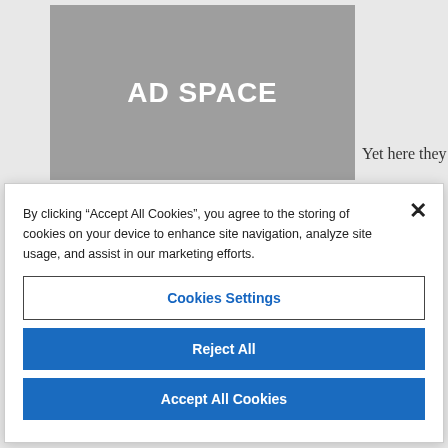[Figure (other): Gray advertisement placeholder box with text 'AD SPACE' in bold white letters]
Yet here they
By clicking “Accept All Cookies”, you agree to the storing of cookies on your device to enhance site navigation, analyze site usage, and assist in our marketing efforts.
Cookies Settings
Reject All
Accept All Cookies